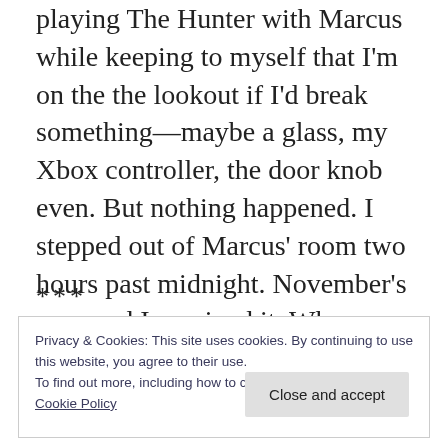playing The Hunter with Marcus while keeping to myself that I'm on the the lookout if I'd break something—maybe a glass, my Xbox controller, the door knob even. But nothing happened. I stepped out of Marcus' room two hours past midnight. November's over and I survived it. Whew. That night, Jim Bean and Netflix never felt that good.
***
Privacy & Cookies: This site uses cookies. By continuing to use this website, you agree to their use.
To find out more, including how to control cookies, see here: Cookie Policy